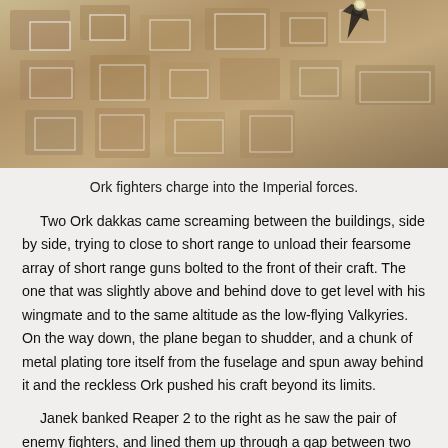[Figure (photo): Aerial/top-down view of Ork fighters charging through a city or base, with a spacecraft visible in the upper right, set among buildings with white outline markers on the ground.]
Ork fighters charge into the Imperial forces.
Two Ork dakkas came screaming between the buildings, side by side, trying to close to short range to unload their fearsome array of short range guns bolted to the front of their craft. The one that was slightly above and behind dove to get level with his wingmate and to the same altitude as the low-flying Valkyries. On the way down, the plane began to shudder, and a chunk of metal plating tore itself from the fuselage and spun away behind it and the reckless Ork pushed his craft beyond its limits.
Janek banked Reaper 2 to the right as he saw the pair of enemy fighters, and lined them up through a gap between two buildings.